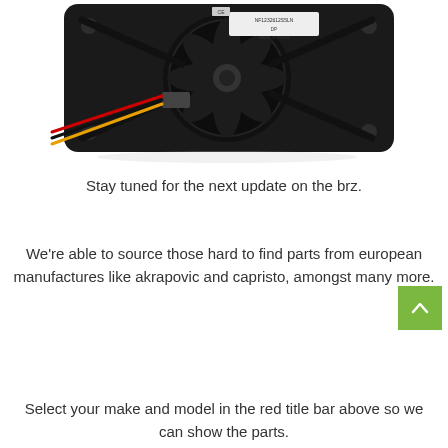[Figure (photo): Photo of a black PC case cooling fan (120mm) with three-wire connector cable (red, black, yellow wires) on a white background. The fan has a label reading NF1232612S5LN and MADE IN CHINA.]
Stay tuned for the next update on the brz.
We're able to source those hard to find parts from european manufactures like akrapovic and capristo, amongst many more.
Select your make and model in the red title bar above so we can show the parts.